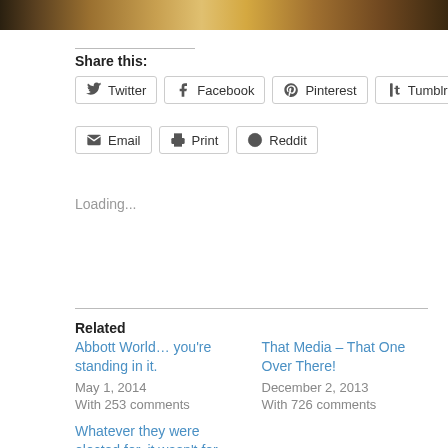[Figure (photo): Partial view of an animal (appears to be a bear or similar large mammal) in natural setting, cropped at top of page]
Share this:
Twitter  Facebook  Pinterest  Tumblr  Email  Print  Reddit
Loading...
Related
Abbott World… you're standing in it.
May 1, 2014
With 253 comments
That Media – That One Over There!
December 2, 2013
With 726 comments
Whatever they were elected for, it wasn't for this.